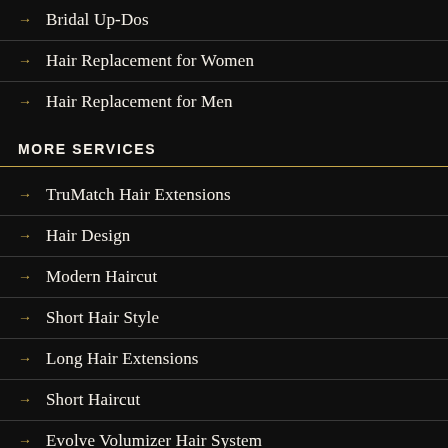→ Bridal Up-Dos
→ Hair Replacement for Women
→ Hair Replacement for Men
MORE SERVICES
→ TruMatch Hair Extensions
→ Hair Design
→ Modern Haircut
→ Short Hair Style
→ Long Hair Extensions
→ Short Haircut
→ Evolve Volumizer Hair System